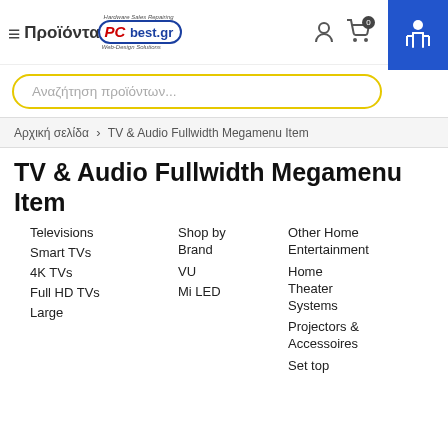Προϊόντα PC best.gr
Αναζήτηση προϊόντων...
Αρχική σελίδα > TV & Audio Fullwidth Megamenu Item
TV & Audio Fullwidth Megamenu Item
Televisions
Smart TVs
4K TVs
Full HD TVs
Large
Shop by Brand
VU
Mi LED
Other Home Entertainment
Home Theater Systems
Projectors & Accessoires
Set top